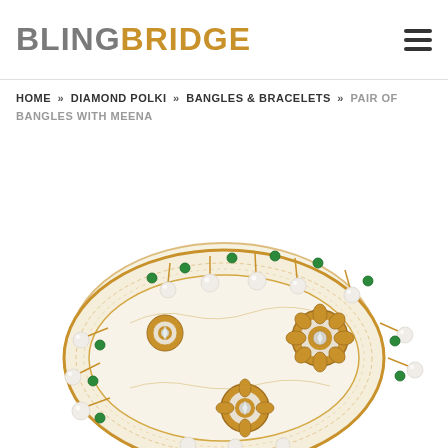BLINGBRIDGE
HOME » DIAMOND POLKI » BANGLES & BRACELETS » PAIR OF BANGLES WITH MEENA
[Figure (photo): A close-up photograph of a pair of ornate Indian bangles featuring white meena (enamel) work, polki diamonds in gold floral settings, pearl dangles, and green bead accents on the edges.]